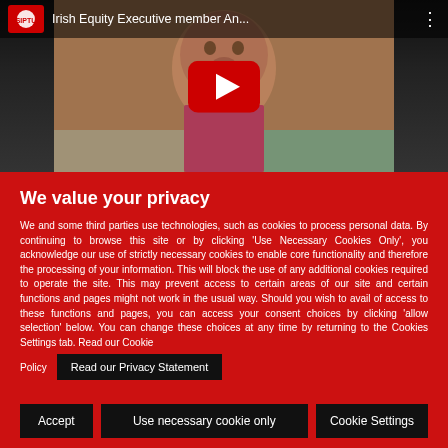[Figure (screenshot): YouTube video thumbnail showing a woman with short red hair, a SIPTU logo in the top-left corner, video title 'Irish Equity Executive member An...' in the top bar, and a red YouTube play button in the center]
We value your privacy
We and some third parties use technologies, such as cookies to process personal data. By continuing to browse this site or by clicking 'Use Necessary Cookies Only', you acknowledge our use of strictly necessary cookies to enable core functionality and therefore the processing of your information. This will block the use of any additional cookies required to operate the site. This may prevent access to certain areas of our site and certain functions and pages might not work in the usual way. Should you wish to avail of access to these functions and pages, you can access your consent choices by clicking 'allow selection' below. You can change these choices at any time by returning to the Cookies Settings tab. Read our Cookie Policy
Read our Privacy Statement
Accept   Use necessary cookie only   Cookie Settings